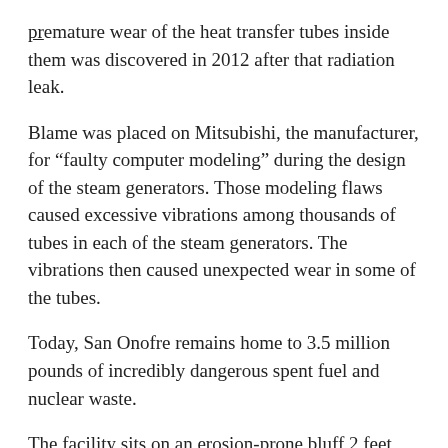premature wear of the heat transfer tubes inside them was discovered in 2012 after that radiation leak.
Blame was placed on Mitsubishi, the manufacturer, for “faulty computer modeling” during the design of the steam generators. Those modeling flaws caused excessive vibrations among thousands of tubes in each of the steam generators. The vibrations then caused unexpected wear in some of the tubes.
Today, San Onofre remains home to 3.5 million pounds of incredibly dangerous spent fuel and nuclear waste.
The facility sits on an erosion-prone bluff 2 feet above the mean high tide. Seismic activity often occurs, and four tsunamis hit the region between 1812 and 1930. Geologists say the potential for another tsunami is elevated in the area, which has 8.4 million people